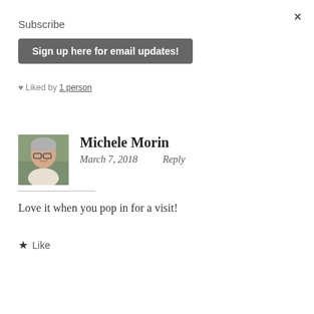×
Subscribe
Sign up here for email updates!
♥ Liked by 1 person
[Figure (photo): Profile photo of Michele Morin, a woman with short grey hair and glasses]
Michele Morin
March 7, 2018    Reply
Love it when you pop in for a visit!
★ Like